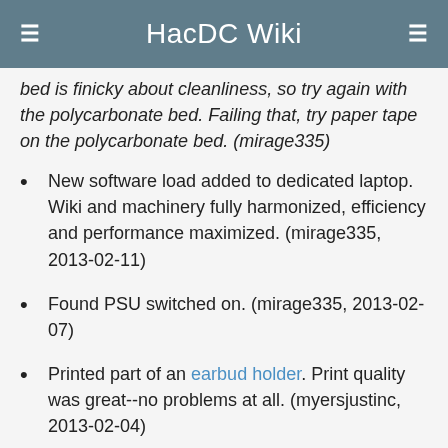HacDC Wiki
bed is finicky about cleanliness, so try again with the polycarbonate bed. Failing that, try paper tape on the polycarbonate bed. (mirage335)
New software load added to dedicated laptop. Wiki and machinery fully harmonized, efficiency and performance maximized. (mirage335, 2013-02-11)
Found PSU switched on. (mirage335, 2013-02-07)
Printed part of an earbud holder. Print quality was great--no problems at all. (myersjustinc, 2013-02-04)
Proper spool mounting system and Z-axis constraints added. Print quality vastly improved. (mirage335, 2013-02-04)
Attempted to print UCK (universal connector kit) lego